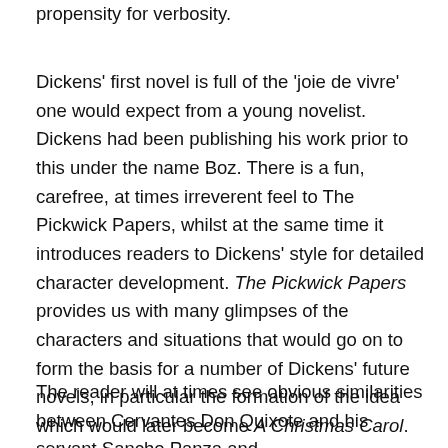propensity for verbosity.
Dickens' first novel is full of the 'joie de vivre' one would expect from a young novelist. Dickens had been publishing his work prior to this under the name Boz. There is a fun, carefree, at times irreverent feel to The Pickwick Papers, whilst at the same time it introduces readers to Dickens' style for detailed character development. The Pickwick Papers provides us with many glimpses of the characters and situations that would go on to form the basis for a number of Dickens' future novels, in particular the formation of the idea which would later become A Christmas Carol. Indeed you really get the chance to appreciate what an accomplished writer of Gothic, Dark Romanticism he could be when he turned his hand to it.
The reader will at times see obvious similarities between Cervantes Don Quixote and his servant Sancho Panza and